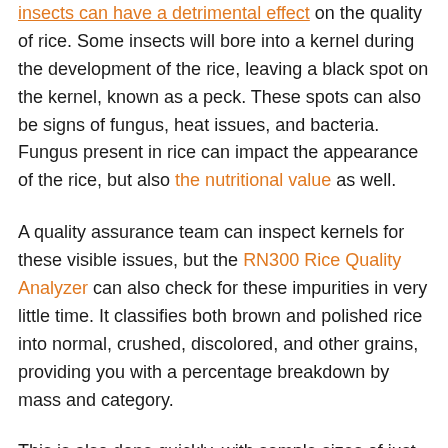insects can have a detrimental effect on the quality of rice. Some insects will bore into a kernel during the development of the rice, leaving a black spot on the kernel, known as a peck. These spots can also be signs of fungus, heat issues, and bacteria. Fungus present in rice can impact the appearance of the rice, but also the nutritional value as well.
A quality assurance team can inspect kernels for these visible issues, but the RN300 Rice Quality Analyzer can also check for these impurities in very little time. It classifies both brown and polished rice into normal, crushed, discolored, and other grains, providing you with a percentage breakdown by mass and category.
This is also done quickly, with sample sizes of just over 1100 pieces accurately analyzed in 24